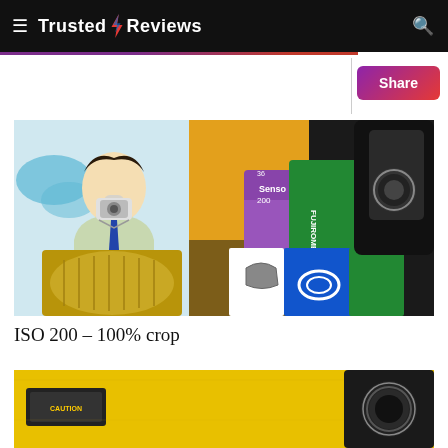Trusted Reviews
[Figure (photo): Close-up photo of film canisters and film boxes including Senso, Fujifilm 200, and Fujizone products, alongside a retro comic-style illustration of a man holding a camera to his face. Various colored boxes and a gold lens cap are visible.]
ISO 200 – 100% crop
[Figure (photo): Partial bottom photo showing yellow surface with a dark cylindrical object (camera lens/body) visible at right edge.]